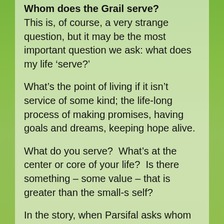Whom does the Grail serve?
This is, of course, a very strange question, but it may be the most important question we ask: what does my life ‘serve?’
What’s the point of living if it isn’t service of some kind; the life-long process of making promises, having goals and dreams, keeping hope alive.
What do you serve?  What’s at the center or core of your life?  Is there something – some value – that is greater than the small-s self?
In the story, when Parsifal asks whom the Grail serves, the resounding answer heard throughout the castle is, “The Grail serves the Grail King,” which Christians may call God, and the